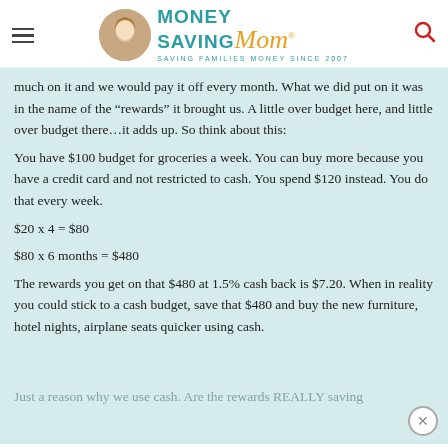[Figure (logo): Money Saving Mom logo with circular photo of woman, teal 'MONEY SAVING' text, gold italic 'Mom' text, tagline 'SAVING FAMILIES MONEY SINCE 2007', hamburger menu icon on left, red search icon on right]
much on it and we would pay it off every month. What we did put on it was in the name of the “rewards” it brought us. A little over budget here, and little over budget there…it adds up. So think about this:
You have $100 budget for groceries a week. You can buy more because you have a credit card and not restricted to cash. You spend $120 instead. You do that every week.
$20 x 4 = $80
$80 x 6 months = $480
The rewards you get on that $480 at 1.5% cash back is $7.20. When in reality you could stick to a cash budget, save that $480 and buy the new furniture, hotel nights, airplane seats quicker using cash.
Just a reason why we use cash. Are the rewards REALLY saving